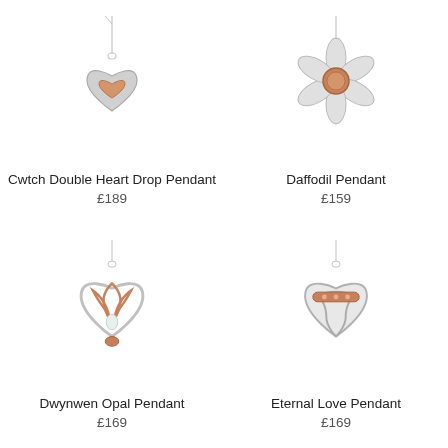[Figure (illustration): Cwtch Double Heart Drop Pendant on chain - silver and rose gold double heart pendant]
Cwtch Double Heart Drop Pendant
£189
[Figure (illustration): Daffodil Pendant on chain - silver daffodil flower pendant with rose gold centre]
Daffodil Pendant
£159
[Figure (illustration): Dwynwen Opal Pendant on chain - silver and rose gold Celtic heart pendant with opal]
Dwynwen Opal Pendant
£169
[Figure (illustration): Eternal Love Pendant on chain - silver Celtic heart pendant with rose gold bar and stones]
Eternal Love Pendant
£169